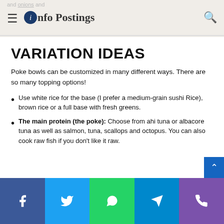Info Postings
VARIATION IDEAS
Poke bowls can be customized in many different ways. There are so many topping options!
Use white rice for the base (I prefer a medium-grain sushi Rice), brown rice or a full base with fresh greens.
The main protein (the poke): Choose from ahi tuna or albacore tuna as well as salmon, tuna, scallops and octopus. You can also cook raw fish if you don't like it raw.